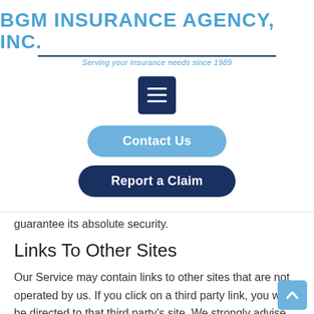[Figure (logo): BGM Insurance Agency, Inc. logo with tagline 'Serving your insurance needs since 1989']
[Figure (other): Hamburger menu icon - dark navy square with three white horizontal lines]
[Figure (other): Contact Us button - light blue rounded pill button]
[Figure (other): Report a Claim button - dark navy rounded pill button]
guarantee its absolute security.
Links To Other Sites
Our Service may contain links to other sites that are not operated by us. If you click on a third party link, you will be directed to that third party's site. We strongly advise you to review the Privacy